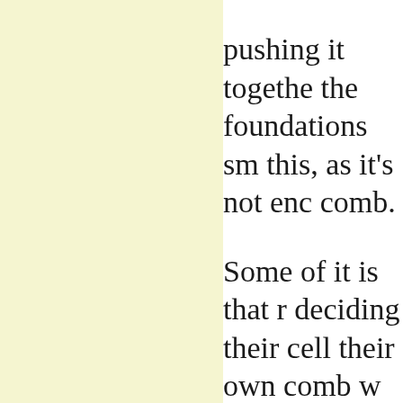[Figure (illustration): Light yellow/cream colored rectangular panel on the left side of the page]
pushing it together the foundations sm this, as it's not enc comb. Some of it is that r deciding their cell their own comb w than they will buil to avoid building c solution is to stop foundationless. An that is closer to wh 5.4mm standard f